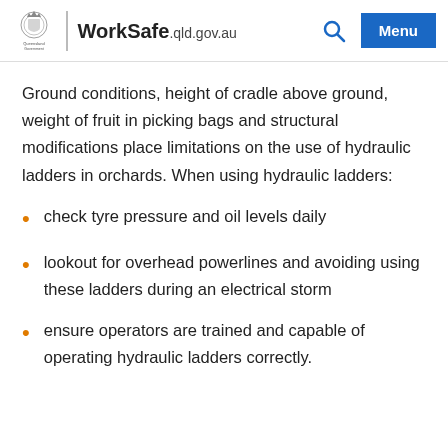WorkSafe.qld.gov.au
Ground conditions, height of cradle above ground, weight of fruit in picking bags and structural modifications place limitations on the use of hydraulic ladders in orchards. When using hydraulic ladders:
check tyre pressure and oil levels daily
lookout for overhead powerlines and avoiding using these ladders during an electrical storm
ensure operators are trained and capable of operating hydraulic ladders correctly.